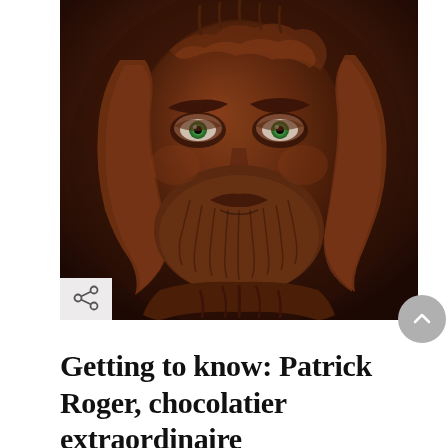[Figure (photo): Close-up portrait of a man with his face and beard completely covered in dark chocolate, with striking green eyes visible through the chocolate coating. His hair is also coated in chocolate and hangs around his face. The background is dark.]
Getting to know: Patrick Roger, chocolatier extraordinaire